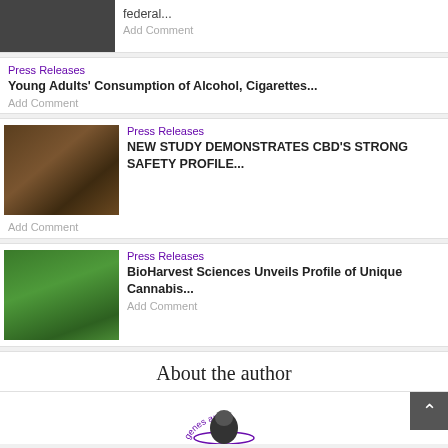[Figure (photo): Partial view of a person, dark tones, top of page]
federal...
Add Comment
Press Releases
Young Adults' Consumption of Alcohol, Cigarettes...
Add Comment
[Figure (photo): CBD oil dropper bottles and cannabis leaf on dark wood table]
Press Releases
NEW STUDY DEMONSTRATES CBD'S STRONG SAFETY PROFILE...
Add Comment
[Figure (photo): Close-up of green cannabis leaves]
Press Releases
BioHarvest Sciences Unveils Profile of Unique Cannabis...
Add Comment
About the author
[Figure (logo): Circular logo with text 'genes and ...' partially visible]